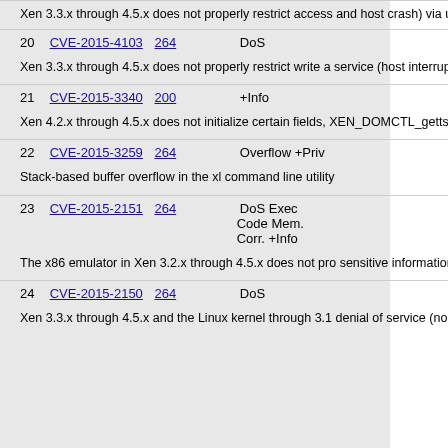Xen 3.3.x through 4.5.x does not properly restrict access and host crash) via unspecified vectors.
| # | CVE | Refs | Type |  |
| --- | --- | --- | --- | --- |
| 20 | CVE-2015-4103 | 264 | DoS |  |
| 21 | CVE-2015-3340 | 200 | +Info |  |
| 22 | CVE-2015-3259 | 264 | Overflow +Priv |  |
| 23 | CVE-2015-2151 | 264 | DoS Exec Code Mem. Corr. +Info |  |
| 24 | CVE-2015-2150 | 264 | DoS |  |
Xen 3.3.x through 4.5.x does not properly restrict write a service (host interrupt handling confusion) via vectors re
Xen 4.2.x through 4.5.x does not initialize certain fields, XEN_DOMCTL_gettscinfo or (2) XEN_SYSCTRL_getdom
Stack-based buffer overflow in the xl command line utility
The x86 emulator in Xen 3.2.x through 4.5.x does not pro sensitive information, cause a denial of service (memory
Xen 3.3.x through 4.5.x and the Linux kernel through 3.1 denial of service (non-maskable interrupt and host crash